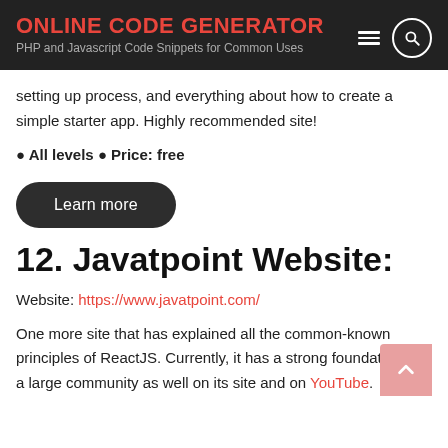ONLINE CODE GENERATOR
PHP and Javascript Code Snippets for Common Uses
setting up process, and everything about how to create a simple starter app. Highly recommended site!
● All levels ● Price: free
Learn more
12. Javatpoint Website:
Website: https://www.javatpoint.com/
One more site that has explained all the common-known principles of ReactJS. Currently, it has a strong foundation and a large community as well on its site and on YouTube.